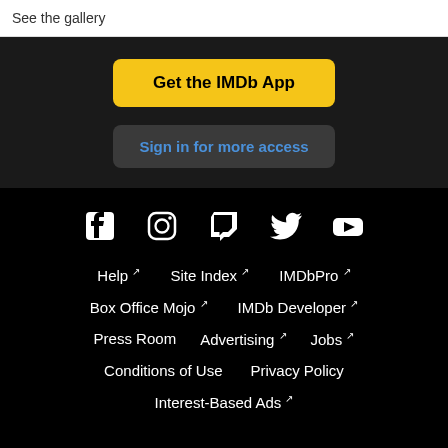See the gallery
Get the IMDb App
Sign in for more access
[Figure (illustration): Social media icons row: Facebook, Instagram, Twitch, Twitter, YouTube]
Help
Site Index
IMDbPro
Box Office Mojo
IMDb Developer
Press Room
Advertising
Jobs
Conditions of Use
Privacy Policy
Interest-Based Ads